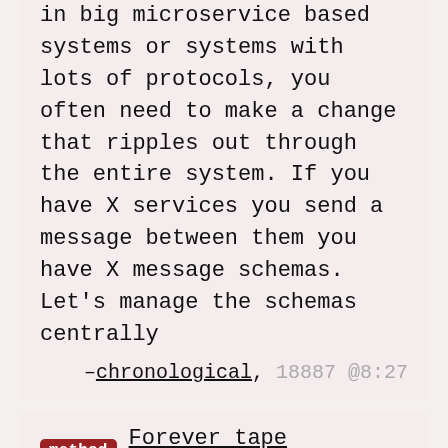in big microservice based systems or systems with lots of protocols, you often need to make a change that ripples out through the entire system. If you have X services you send a message between them you have X message schemas. Let's manage the schemas centrally
–chronological, 18887 @8:27
method Forever tape abstraction
With computers we often have different places to place data that determines how fast or how large the data is. For example, we have the stack, main memory, virtual